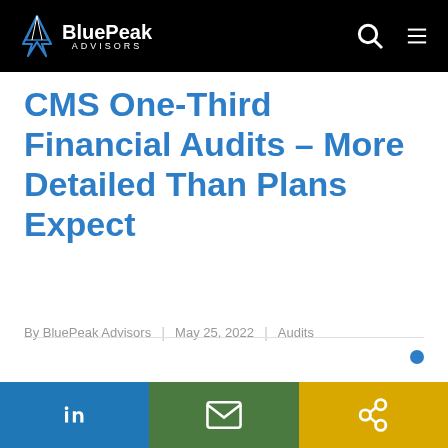BluePeak Advisors
CMS One-Third Financial Audits – More Detailed Than Plans Expect
By BluePeak Advisors | May 25, 2022 | Audits